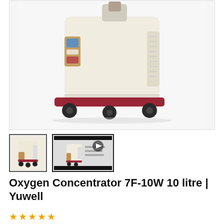[Figure (photo): Oxygen concentrator device 7F-10W 10 litre by Yuwell, cream/beige colored box unit on red wheeled base, shown from angled front view on white background]
[Figure (photo): Thumbnail of oxygen concentrator, small image with blue border, selected state]
[Figure (photo): Thumbnail video preview of oxygen concentrator with play button overlay]
Oxygen Concentrator 7F-10W 10 litre | Yuwell
★★★★★ (star rating, empty stars)